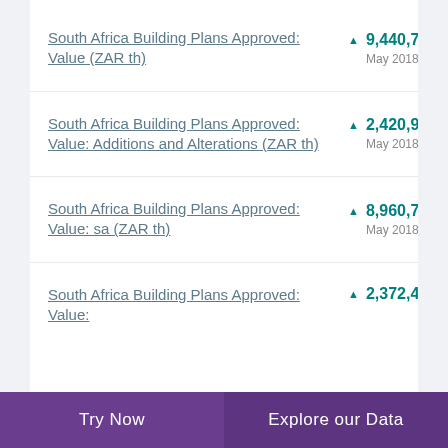South Africa Building Plans Approved: Value (ZAR th)
South Africa Building Plans Approved: Value: Additions and Alterations (ZAR th)
South Africa Building Plans Approved: Value: sa (ZAR th)
South Africa Building Plans Approved: Value:
Try Now | Explore our Data